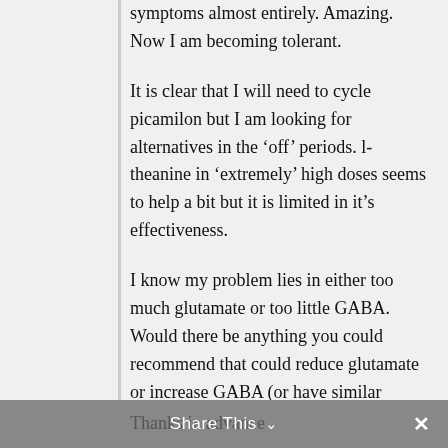symptoms almost entirely. Amazing. Now I am becoming tolerant.
It is clear that I will need to cycle picamilon but I am looking for alternatives in the ‘off’ periods. l-theanine in ‘extremely’ high doses seems to help a bit but it is limited in it’s effectiveness.
I know my problem lies in either too much glutamate or too little GABA. Would there be anything you could recommend that could reduce glutamate or increase GABA (or have similar effects).
Thanks in advance
Share This ⌄  ×